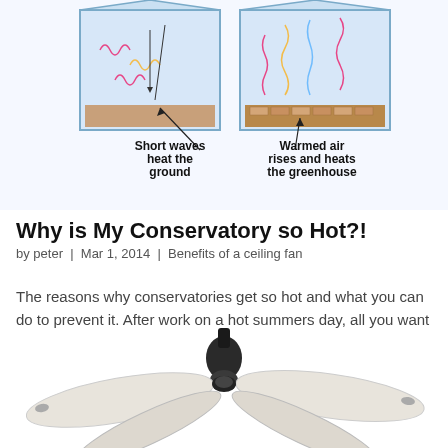[Figure (illustration): Illustration of a greenhouse cross-section showing short wave radiation heating the ground and warmed air rising and heating the greenhouse interior. Two callout labels point to respective phenomena.]
Why is My Conservatory so Hot?!
by peter | Mar 1, 2014 | Benefits of a ceiling fan
The reasons why conservatories get so hot and what you can do to prevent it. After work on a hot summers day, all you want to do is relax in your conservatory and soak up the sun's welcoming light. However as you open the doors, a rush of warm, humid air hits...
[Figure (photo): Photo of a white ceiling fan with multiple blades and a dark center motor housing, viewed from below at a slight angle.]